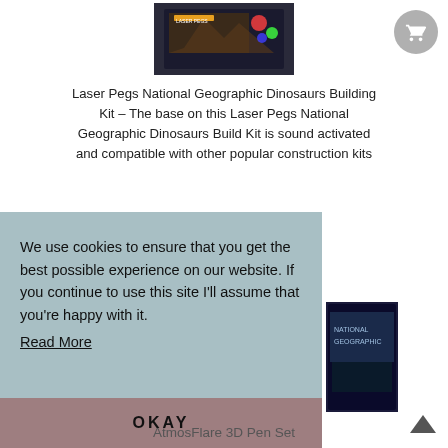[Figure (photo): Product box image of Laser Pegs National Geographic Dinosaurs Building Kit]
Laser Pegs National Geographic Dinosaurs Building Kit – The base on this Laser Pegs National Geographic Dinosaurs Build Kit is sound activated and compatible with other popular construction kits
[Figure (other): Buy from Amazon.com button]
We use cookies to ensure that you get the best possible experience on our website. If you continue to use this site I'll assume that you're happy with it. Read More OKAY
AtmosFlare 3D Pen Set